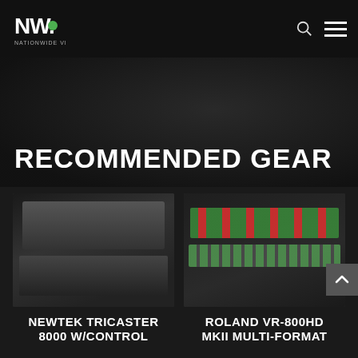Nationwide Video - NW logo header
RECOMMENDED GEAR
[Figure (photo): NewTek TriCaster 8000 production switcher in a road case with monitors open]
NEWTEK TRICASTER 8000 W/CONTROL
[Figure (photo): Roland VR-800HD MKII Multi-Format video switcher/mixer device]
ROLAND VR-800HD MKII MULTI-FORMAT